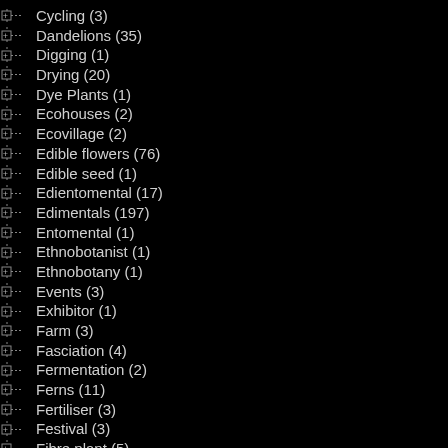Cycling (3)
Dandelions (35)
Digging (1)
Drying (20)
Dye Plants (1)
Ecohouses (2)
Ecovillage (2)
Edible flowers (76)
Edible seed (1)
Edientomental (17)
Edimentals (197)
Entomental (1)
Ethnobotanist (1)
Ethnobotany (1)
Events (3)
Exhibitor (1)
Farm (3)
Fasciation (4)
Fermentation (2)
Ferns (11)
Fertiliser (3)
Festival (3)
Fibre plant (5)